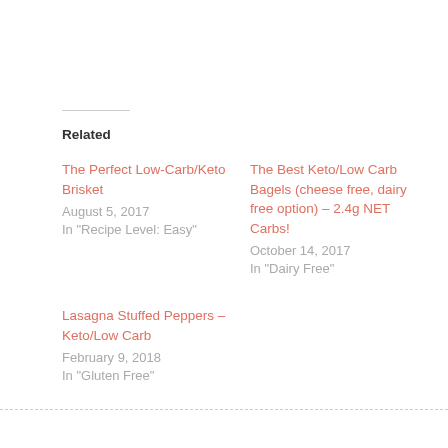Related
The Perfect Low-Carb/Keto Brisket
August 5, 2017
In "Recipe Level: Easy"
The Best Keto/Low Carb Bagels (cheese free, dairy free option) – 2.4g NET Carbs!
October 14, 2017
In "Dairy Free"
Lasagna Stuffed Peppers – Keto/Low Carb
February 9, 2018
In "Gluten Free"